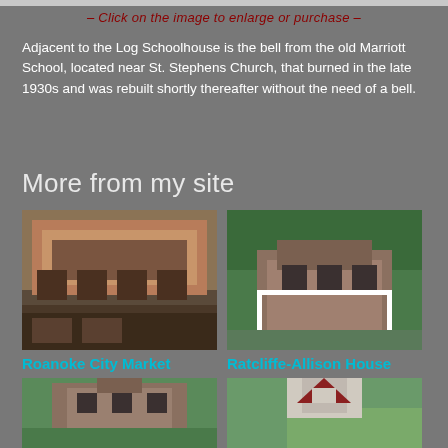– Click on the image to enlarge or purchase –
Adjacent to the Log Schoolhouse is the bell from the old Marriott School, located near St. Stephens Church, that burned in the late 1930s and was rebuilt shortly thereafter without the need of a bell.
More from my site
[Figure (photo): Photograph of the Roanoke City Market Building, a large red brick multi-story commercial building]
Roanoke City Market Building
[Figure (photo): Photograph of the Ratcliffe-Allison House, an old historic house with white porch railings surrounded by trees]
Ratcliffe-Allison House
[Figure (photo): Photograph of a large historic brick mansion with symmetrical facade and manicured grounds]
[Figure (photo): Photograph of a white church with a tall steeple surrounded by autumn trees]